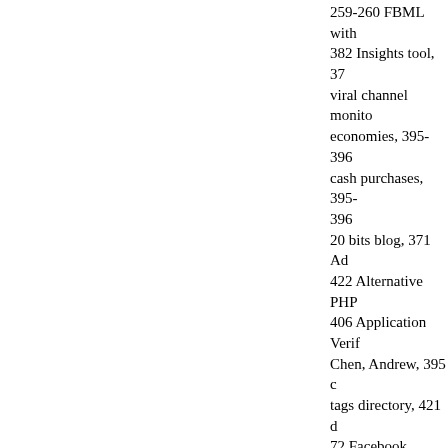259-260 FBML with 382 Insights tool, 37 viral channel monitor economies, 395-396 cash purchases, 395-396
20 bits blog, 371 Ad 422 Alternative PHP 406 Application Verif Chen, Andrew, 395 d tags directory, 421 d 72 Facebook News, fgExchange, 392 Fic 416 Graffiti applicatio Facebook, 422 Kont buttons, creating, 35 Zuora
news updates resou guidelines, 73 statist to Your Customers m Spare Change servi SuperRewards, 396 TRUSTe, 72 US Co YSlow, 64, 422 YUI L Weddingbook, 80 we